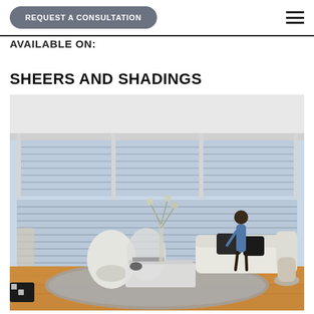REQUEST A CONSULTATION
AVAILABLE ON:
SHEERS AND SHADINGS
[Figure (photo): Modern living room interior with large floor-to-ceiling windows covered by sheer horizontal blinds/shadings. A woman stands at the window. White egg-shaped lounge chairs, a white sofa with dark cushions, a glass coffee table with a floral arrangement, and a grey shag rug on a hardwood floor.]